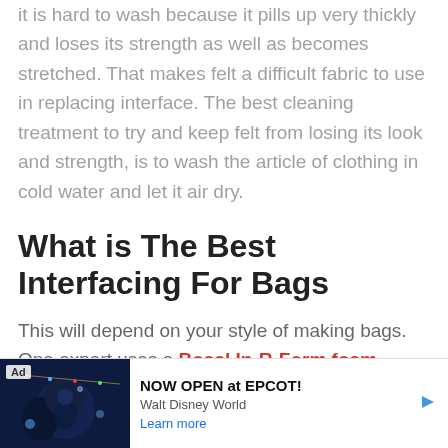it is hard to wash because it pills up very thickly and loses its strength as well as becomes stretched. That makes felt a difficult fabric to use in replacing interface. The best cleaning treatment to try and keep felt from losing its look and strength, is to wash the article of clothing in cold water and let it air dry.
What is The Best Interfacing For Bags
This will depend on your style of making bags. One expert uses a Bosal In-R-Form foam stabilizer. It fuses on quickly and
[Figure (screenshot): Advertisement banner at the bottom of the page showing 'NOW OPEN at EPCOT!' Walt Disney World ad with a dark themed image, Ad label, and 'Learn more' link in blue.]